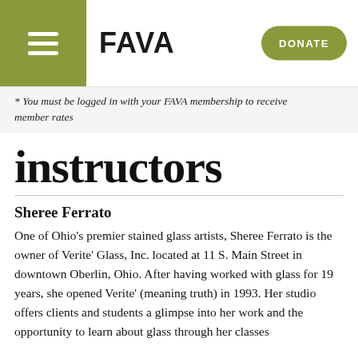FAVA | DONATE
* You must be logged in with your FAVA membership to receive member rates
instructors
Sheree Ferrato
One of Ohio's premier stained glass artists, Sheree Ferrato is the owner of Verite' Glass, Inc. located at 11 S. Main Street in downtown Oberlin, Ohio. After having worked with glass for 19 years, she opened Verite' (meaning truth) in 1993. Her studio offers clients and students a glimpse into her work and the opportunity to learn about glass through her classes